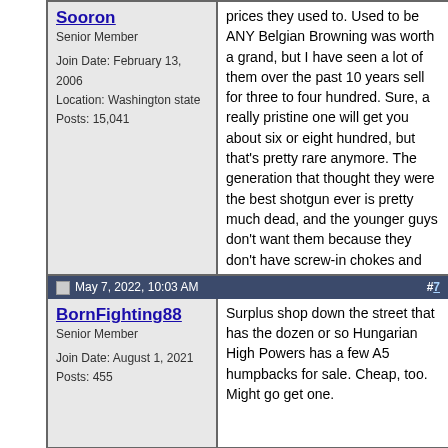Sooron
Senior Member
Join Date: February 13, 2006
Location: Washington state
Posts: 15,041
prices they used to. Used to be ANY Belgian Browning was worth a grand, but I have seen a lot of them over the past 10 years sell for three to four hundred. Sure, a really pristine one will get you about six or eight hundred, but that's pretty rare anymore. The generation that thought they were the best shotgun ever is pretty much dead, and the younger guys don't want them because they don't have screw-in chokes and they can't make them tacticool.

Never try to educate someone who resists knowledge at all costs.
But what do I know?
Summit Arms Services
May 7, 2022, 10:03 AM   #7
BornFighting88
Senior Member
Join Date: August 1, 2021
Posts: 455
Surplus shop down the street that has the dozen or so Hungarian High Powers has a few A5 humpbacks for sale. Cheap, too. Might go get one.